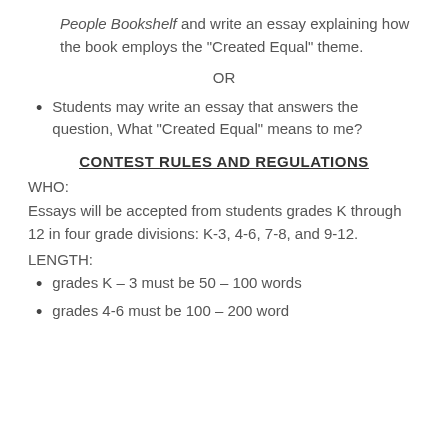People Bookshelf and write an essay explaining how the book employs the “Created Equal” theme.
OR
Students may write an essay that answers the question, What “Created Equal” means to me?
CONTEST RULES AND REGULATIONS
WHO:
Essays will be accepted from students grades K through 12 in four grade divisions: K-3, 4-6, 7-8, and 9-12.
LENGTH:
grades K – 3 must be 50 – 100 words
grades 4-6 must be 100 – 200 word